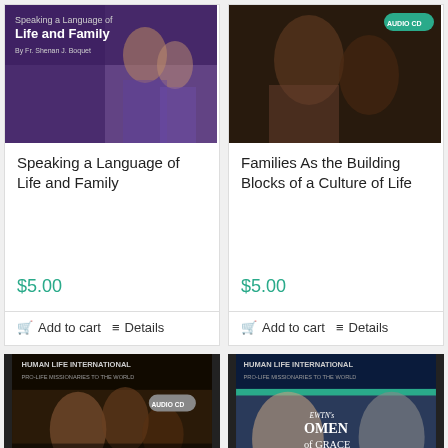[Figure (photo): Book cover: Speaking a Language of Life and Family by Fr. Shenan J. Boquet, purple background with people]
Speaking a Language of Life and Family
$5.00
Add to cart
Details
[Figure (photo): Audio CD cover: Families As the Building Blocks of a Culture of Life, dark background with AUDIO CD label]
Families As the Building Blocks of a Culture of Life
$5.00
Add to cart
Details
[Figure (photo): Audio CD cover: How to Open the Eyes of the Blind - Human Life International Pro-Life Missionaries to the World]
[Figure (photo): Cover: EWTN's Women of Grace - Be a Transformer: Make Life Happen - Human Life International]